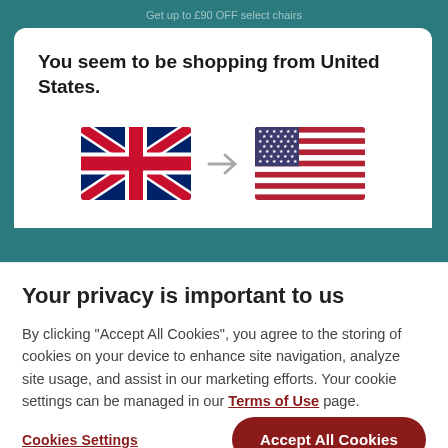Get up to £90 OFF select chairs
You seem to be shopping from United States.
[Figure (illustration): UK flag arrow pointing to US flag, indicating a country redirect prompt]
Your privacy is important to us
By clicking "Accept All Cookies", you agree to the storing of cookies on your device to enhance site navigation, analyze site usage, and assist in our marketing efforts. Your cookie settings can be managed in our Terms of Use page.
Cookies Settings
Accept All Cookies